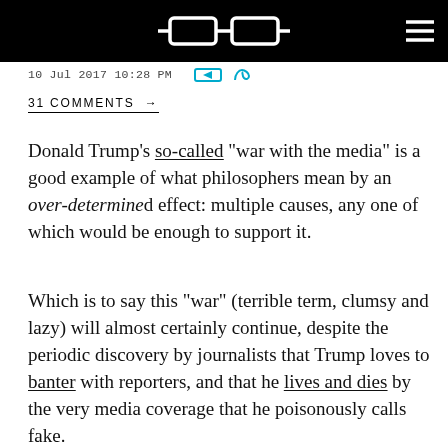[glasses logo] [hamburger menu]
10 Jul 2017 10:28 PM
31 COMMENTS →
Donald Trump's so-called "war with the media" is a good example of what philosophers mean by an over-determined effect: multiple causes, any one of which would be enough to support it.
Which is to say this "war" (terrible term, clumsy and lazy) will almost certainly continue, despite the periodic discovery by journalists that Trump loves to banter with reporters, and that he lives and dies by the very media coverage that he poisonously calls fake.